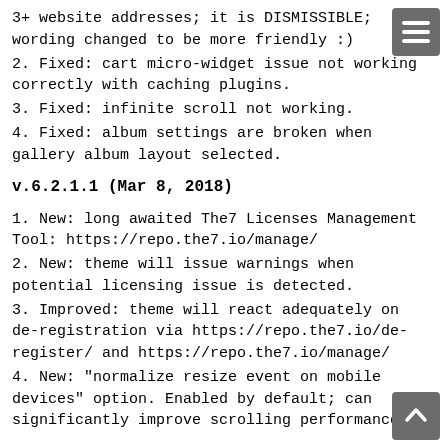3+ website addresses; it is DISMISSIBLE; wording changed to be more friendly :)
2. Fixed: cart micro-widget issue not working correctly with caching plugins.
3. Fixed: infinite scroll not working.
4. Fixed: album settings are broken when gallery album layout selected.
v.6.2.1.1 (Mar 8, 2018)
1. New: long awaited The7 Licenses Management Tool: https://repo.the7.io/manage/
2. New: theme will issue warnings when potential licensing issue is detected.
3. Improved: theme will react adequately on de-registration via https://repo.the7.io/de-register/ and https://repo.the7.io/manage/
4. New: "normalize resize event on mobile devices" option. Enabled by default; can significantly improve scrolling performance.